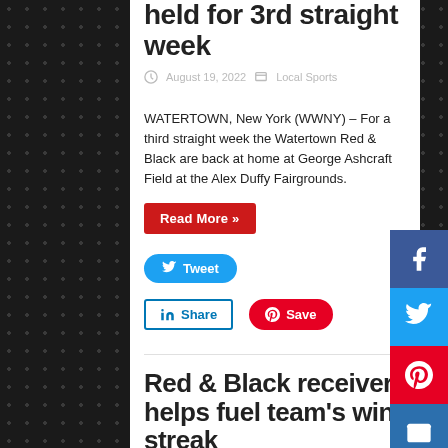held for 3rd straight week
August 19, 2022   Local Sports
WATERTOWN, New York (WWNY) – For a third straight week the Watertown Red & Black are back at home at George Ashcraft Field at the Alex Duffy Fairgrounds.
Read More »
Tweet
Share   Save
Red & Black receiver helps fuel team's win streak